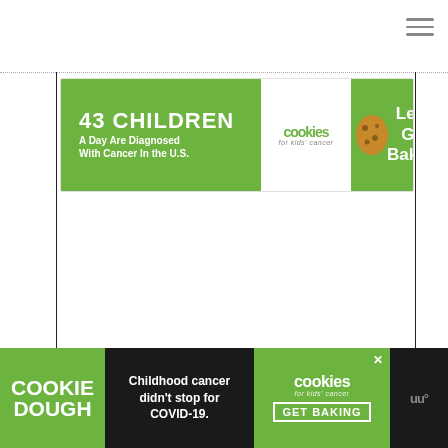[Figure (screenshot): Hamburger menu icon (three horizontal lines) in top right corner of webpage]
[Figure (screenshot): Banner advertisement: '43 CHILDREN A Day Are Diagnosed With Cancer in the U.S.' on green background, with 'cookies for kids cancer' logo in white oval, and 'Let's Get Baking' text with cookie image on green background. Has close X button.]
[Figure (screenshot): Sticky bottom bar advertisement: 'COOKIE DOUGH' in green on dark background, 'Childhood cancer didn't stop for COVID-19.' in white text, and 'cookies for kids cancer GET BAKING' on green background with close X. WeatherBug icon on right.]